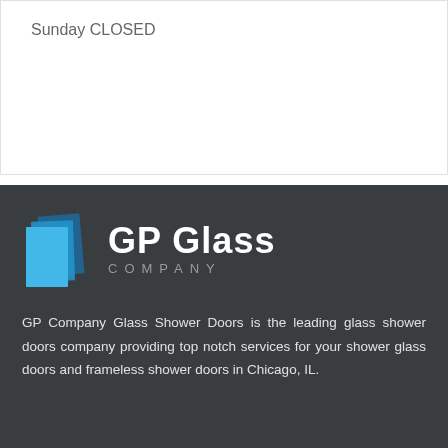Sunday CLOSED
[Figure (logo): GP Glass Company logo with blue layered glass panels icon and white bold text 'GP Glass' with grey spaced text 'COMPANY' below]
GP Company Glass Shower Doors is the leading glass shower doors company providing top notch services for your shower glass doors and frameless shower doors in Chicago, IL.